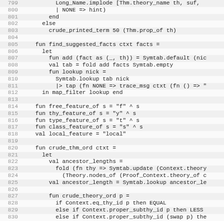[Figure (screenshot): Source code listing in a monospace font showing ML/functional programming code (likely Isabelle/SML), lines 799-830, with alternating light gray and white line backgrounds and gray line numbers on the left.]